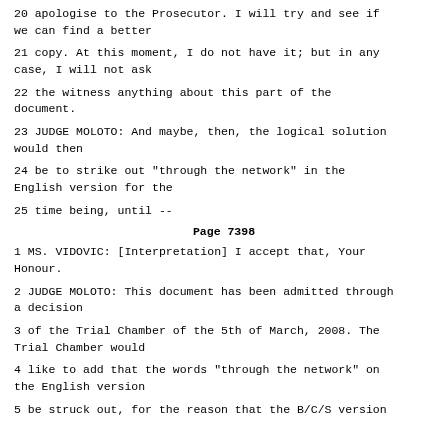20 apologise to the Prosecutor. I will try and see if we can find a better
21 copy. At this moment, I do not have it; but in any case, I will not ask
22 the witness anything about this part of the document.
23 JUDGE MOLOTO: And maybe, then, the logical solution would then
24 be to strike out "through the network" in the English version for the
25 time being, until --
Page 7398
1 MS. VIDOVIC: [Interpretation] I accept that, Your Honour.
2 JUDGE MOLOTO: This document has been admitted through a decision
3 of the Trial Chamber of the 5th of March, 2008. The Trial Chamber would
4 like to add that the words "through the network" on the English version
5 be struck out, for the reason that the B/C/S version